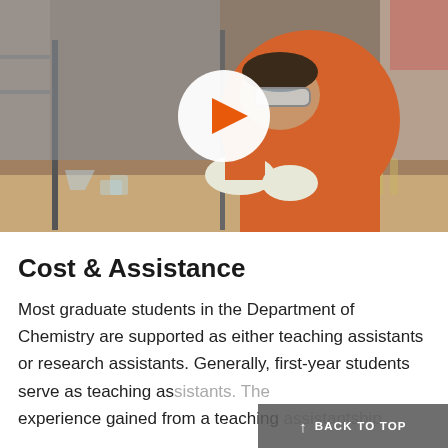[Figure (photo): A student in an orange shirt and protective goggles and gloves working in a chemistry laboratory, surrounded by glassware and equipment. A white circular play button overlay is centered on the image.]
Cost & Assistance
Most graduate students in the Department of Chemistry are supported as either teaching assistants or research assistants. Generally, first-year students serve as teaching assistants. The experience gained from a teaching assistantship